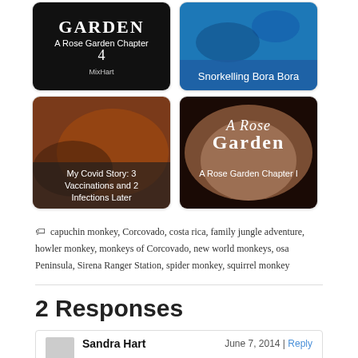[Figure (photo): Book cover thumbnail: A Rose Garden Chapter 4 by MixHart, dark background with white text]
[Figure (photo): Photo thumbnail: Snorkelling Bora Bora, underwater blue scene with white caption bar]
[Figure (photo): Photo thumbnail: My Covid Story: 3 Vaccinations and 2 Infections Later, brown/orange photo with dark overlay text]
[Figure (photo): Book cover thumbnail: A Rose Garden Chapter I, rose image with white serif text]
capuchin monkey, Corcovado, costa rica, family jungle adventure, howler monkey, monkeys of Corcovado, new world monkeys, osa Peninsula, Sirena Ranger Station, spider monkey, squirrel monkey
2 Responses
Sandra Hart    June 7, 2014 | Reply